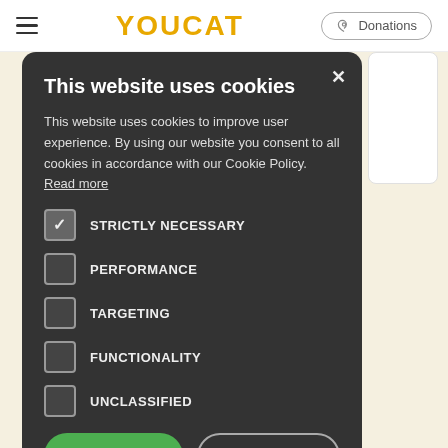YOUCAT | Donations
This website uses cookies
This website uses cookies to improve user experience. By using our website you consent to all cookies in accordance with our Cookie Policy. Read more
☑ STRICTLY NECESSARY
☐ PERFORMANCE
☐ TARGETING
☐ FUNCTIONALITY
☐ UNCLASSIFIED
ACCEPT ALL | DECLINE ALL
⚙ SHOW DETAILS